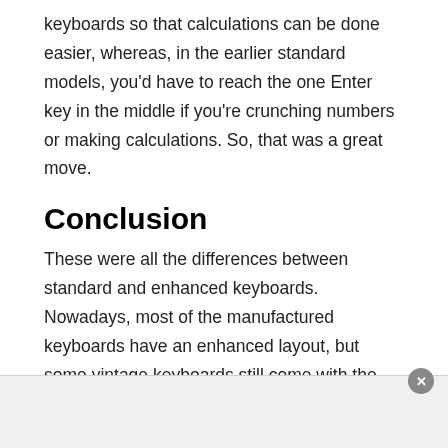keyboards so that calculations can be done easier, whereas, in the earlier standard models, you'd have to reach the one Enter key in the middle if you're crunching numbers or making calculations. So, that was a great move.
Conclusion
These were all the differences between standard and enhanced keyboards. Nowadays, most of the manufactured keyboards have an enhanced layout, but some vintage keyboards still come with the standard layout if you're interested. As a keyboard lover, I hope